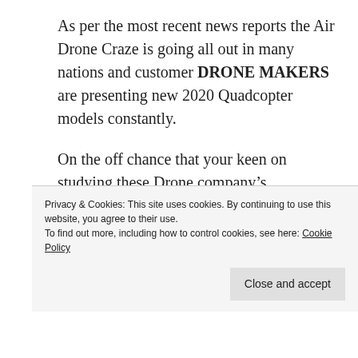As per the most recent news reports the Air Drone Craze is going all out in many nations and customer DRONE MAKERS are presenting new 2020 Quadcopter models constantly.
On the off chance that your keen on studying these Drone company’s, Compiled beneath is a rundown that you may discover supportive, particularly, If your simply beginning with RC Drones, you’ve presumably observed a couple of various models you are keen on
Privacy & Cookies: This site uses cookies. By continuing to use this website, you agree to their use.
To find out more, including how to control cookies, see here: Cookie Policy